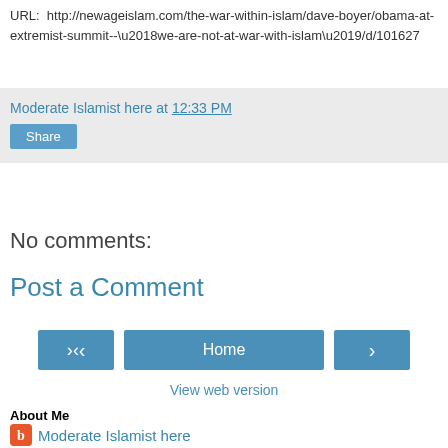URL:  http://newageislam.com/the-war-within-islam/dave-boyer/obama-at-extremist-summit--‘we-are-not-at-war-with-islam’/d/101627
Moderate Islamist here at 12:33 PM
Share
No comments:
Post a Comment
< Home > View web version
About Me
Moderate Islamist here